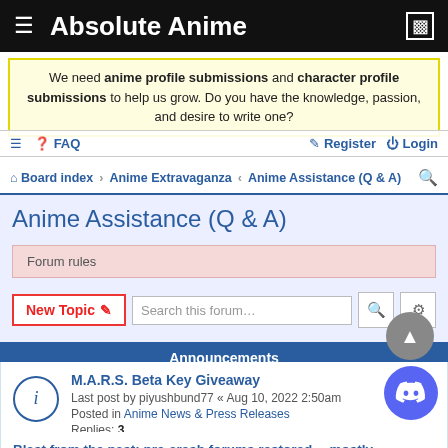Absolute Anime
We need anime profile submissions and character profile submissions to help us grow. Do you have the knowledge, passion, and desire to write one?
≡  FAQ    Register  Login
Board index › Anime Extravaganza › Anime Assistance (Q & A)
Anime Assistance (Q & A)
Forum rules
New Topic  Search this forum...
777 topics  1 2 3 4 5 ... 26 >
Announcements
M.A.R.S. Beta Key Giveaway
Last post by piyushbund77 « Aug 10, 2022 2:50am
Posted in Anime News & Press Releases
Replies: 3
Blast from the past: pre-crash forums restored... mostly